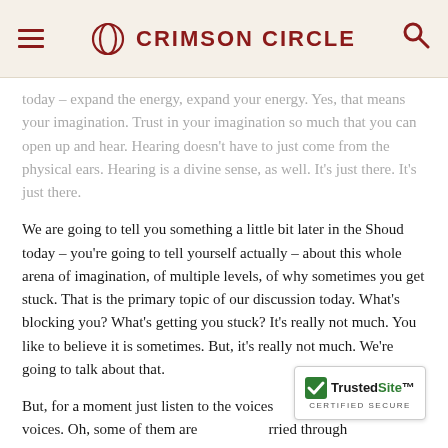CRIMSON CIRCLE
today – expand the energy, expand your energy. Yes, that means your imagination. Trust in your imagination so much that you can open up and hear. Hearing doesn't have to just come from the physical ears. Hearing is a divine sense, as well. It's just there. It's just there.
We are going to tell you something a little bit later in the Shoud today – you're going to tell yourself actually – about this whole arena of imagination, of multiple levels, of why sometimes you get stuck. That is the primary topic of our discussion today. What's blocking you? What's getting you stuck? It's really not much. You like to believe it is sometimes. But, it's really not much. We're going to talk about that.
But, for a moment just listen to the voices of the many voices. Oh, some of them are ... carried through
[Figure (other): TrustedSite Certified Secure badge overlay]